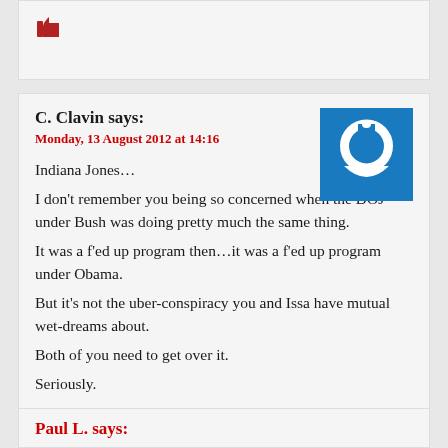[Figure (other): Thumbs up icon (partial, top of page)]
C. Clavin says:
Monday, 13 August 2012 at 14:16
[Figure (other): Blue square power button avatar icon]
Indiana Jones…
I don't remember you being so concerned when the DOJ under Bush was doing pretty much the same thing.
It was a f'ed up program then…it was a f'ed up program under Obama.
But it's not the uber-conspiracy you and Issa have mutual wet-dreams about.
Both of you need to get over it.
Seriously.
[Figure (other): Red thumbs up icon]
Paul L. says: